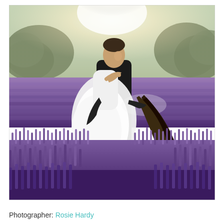[Figure (photo): Wedding couple in a lavender field. A groom in a black suit holds the bride in a white wedding dress, dipping her dramatically. The bride's long dark hair flows down. The lavender field stretches into the background with trees and a bright, glowing sky behind them.]
Photographer: Rosie Hardy